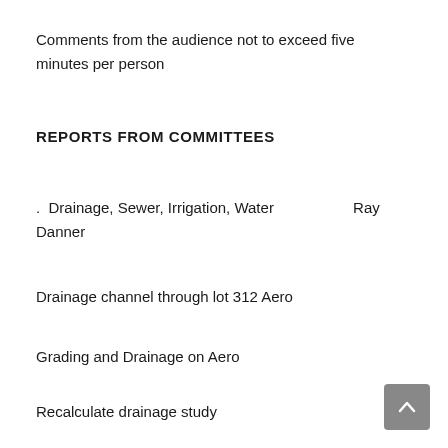Comments from the audience not to exceed five minutes per person
REPORTS FROM COMMITTEES
.  Drainage, Sewer, Irrigation, Water                    Ray Danner
Drainage channel through lot 312 Aero
Grading and Drainage on Aero
Recalculate drainage study